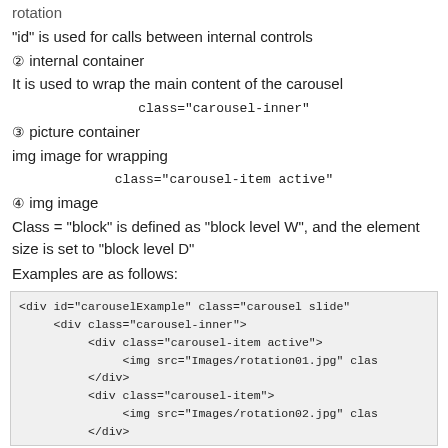rotation
"id" is used for calls between internal controls
② internal container
It is used to wrap the main content of the carousel
class="carousel-inner"
③ picture container
img image for wrapping
class="carousel-item active"
④ img image
Class = "block" is defined as "block level W", and the element size is set to "block level D"
Examples are as follows:
<div id="carouselExample" class="carousel slide"
    <div class="carousel-inner">
        <div class="carousel-item active">
            <img src="Images/rotation01.jpg" clas
        </div>
        <div class="carousel-item">
            <img src="Images/rotation02.jpg" clas
        </div>